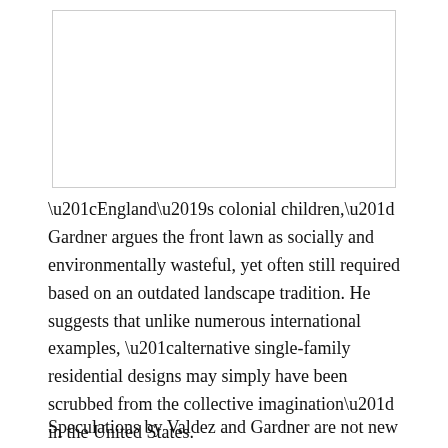[Figure (other): Empty white box with border, likely placeholder for an image or figure]
“England’s colonial children,” Gardner argues the front lawn as socially and environmentally wasteful, yet often still required based on an outdated landscape tradition. He suggests that unlike numerous international examples, “alternative single-family residential designs may simply have been scrubbed from the collective imagination” in the United States.
Speculations by Valdez and Gardner are not new to the